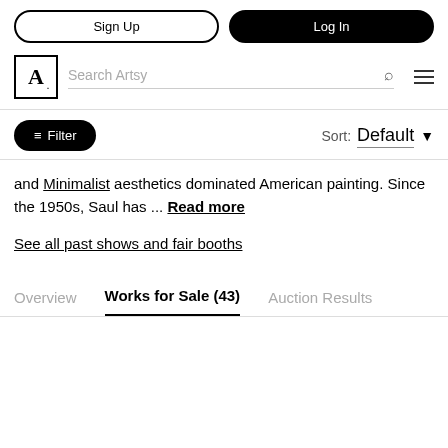Sign Up | Log In | Search Artsy
and Minimalist aesthetics dominated American painting. Since the 1950s, Saul has ... Read more
See all past shows and fair booths
Overview | Works for Sale (43) | Auction Results